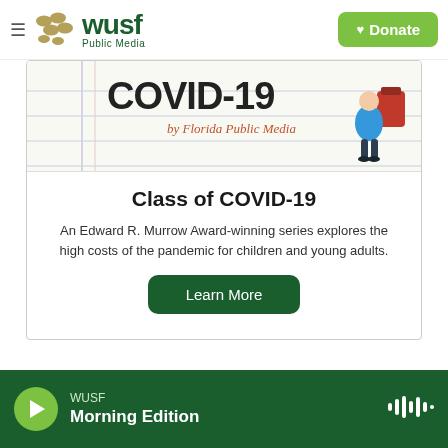WUSF Public Media — Donate
[Figure (screenshot): Partial image showing 'Class of COVID-19 by Florida Public Media' illustration with a student figure]
Class of COVID-19
An Edward R. Murrow Award-winning series explores the high costs of the pandemic for children and young adults.
Learn More
WUSF — Morning Edition